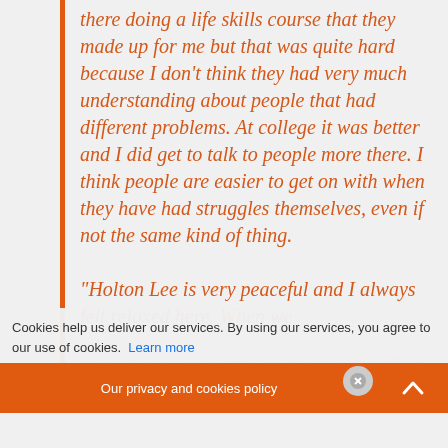there doing a life skills course that they made up for me but that was quite hard because I don't think they had very much understanding about people that had different problems. At college it was better and I did get to talk to people more there. I think people are easier to get on with when they have had struggles themselves, even if not the same kind of thing. “Holton Lee is very peaceful and I always felt relaxed here. When we were shown round the garden I really liked it. Be…
Cookies help us deliver our services. By using our services, you agree to our use of cookies. Learn more
Our privacy and cookies policy